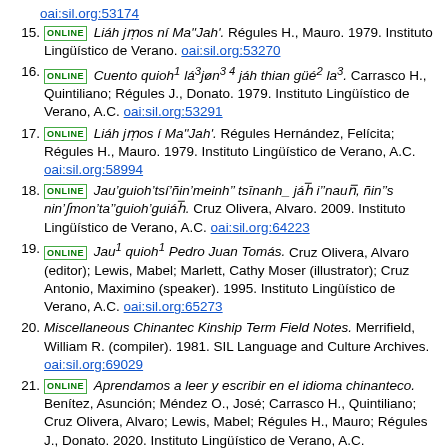oai:sil.org:53174 (top link continuation)
15. ONLINE Liáh jmos ní Ma''Jah'. Régules H., Mauro. 1979. Instituto Lingüístico de Verano. oai:sil.org:53270
16. ONLINE Cuento quioh¹ lá³jøn³⁴ jáh thian güé² la³. Carrasco H., Quintiliano; Régules J., Donato. 1979. Instituto Lingüístico de Verano, A.C. oai:sil.org:53291
17. ONLINE Liáh jmos í Ma''Jah'. Régules Hernández, Felícita; Régules H., Mauro. 1979. Instituto Lingüístico de Verano, A.C. oai:sil.org:58994
18. ONLINE Jau'guioh'tsí'ñin'meinh''tsīnanh_ jáh⁻ i''naun⁻, ñin's nin'jmon'ta''guioh'guiáh⁻. Cruz Olivera, Alvaro. 2009. Instituto Lingüístico de Verano, A.C. oai:sil.org:64223
19. ONLINE Jau¹ quioh¹ Pedro Juan Tomás. Cruz Olivera, Alvaro (editor); Lewis, Mabel; Marlett, Cathy Moser (illustrator); Cruz Antonio, Maximino (speaker). 1995. Instituto Lingüístico de Verano, A.C. oai:sil.org:65273
20. Miscellaneous Chinantec Kinship Term Field Notes. Merrifield, William R. (compiler). 1981. SIL Language and Culture Archives. oai:sil.org:69029
21. ONLINE Aprendamos a leer y escribir en el idioma chinanteco. Benítez, Asunción; Méndez O., José; Carrasco H., Quintiliano; Cruz Olivera, Alvaro; Lewis, Mabel; Régules H., Mauro; Régules J., Donato. 2020. Instituto Lingüístico de Verano, A.C. oai:sil.org:85886
Other known names and dialect names: Tlacoatzintepec Chinantec, Chinanteco del Noroeste